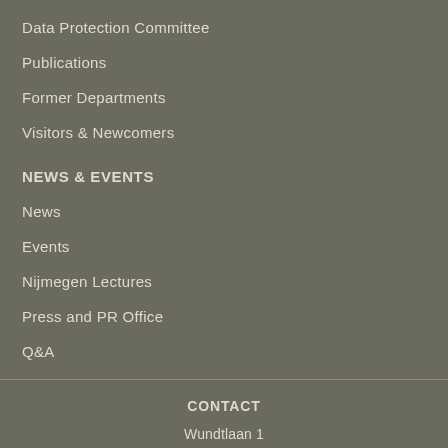Data Protection Committee
Publications
Former Departments
Visitors & Newcomers
NEWS & EVENTS
News
Events
Nijmegen Lectures
Press and PR Office
Q&A
CONTACT
Wundtlaan 1
6525 XD Nijmegen
The Netherlands
+31 (0)24-3521911